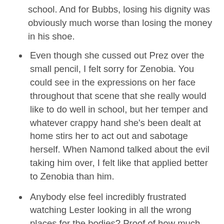school. And for Bubbs, losing his dignity was obviously much worse than losing the money in his shoe.
Even though she cussed out Prez over the small pencil, I felt sorry for Zenobia. You could see in the expressions on her face throughout that scene that she really would like to do well in school, but her temper and whatever crappy hand she's been dealt at home stirs her to act out and sabotage herself. When Namond talked about the evil taking him over, I felt like that applied better to Zenobia than him.
Anybody else feel incredibly frustrated watching Lester looking in all the wrong places for the bodies? Proof of how much this show engages me: I actually started shouting out "Check the vacants!" during a few of those scenes.
When Landsman made the reference to Maj. Forester getting unsuccessful chemo, it was a reference to the fact that actor Richard DeSantis